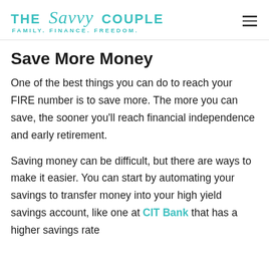THE Savvy COUPLE — FAMILY. FINANCE. FREEDOM.
Save More Money
One of the best things you can do to reach your FIRE number is to save more. The more you can save, the sooner you'll reach financial independence and early retirement.
Saving money can be difficult, but there are ways to make it easier. You can start by automating your savings to transfer money into your high yield savings account, like one at CIT Bank that has a higher savings rate